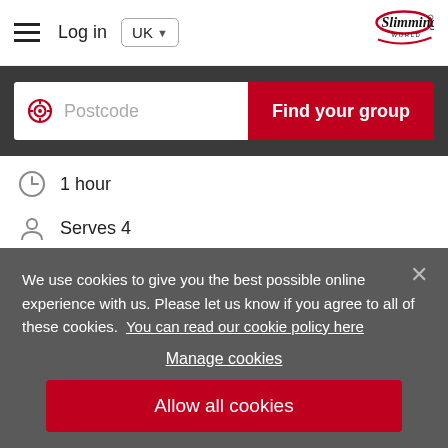Log in | UK | Slimming World
[Figure (screenshot): Slimming World website navigation bar with hamburger menu, Login link, UK dropdown, and Slimming World logo]
[Figure (screenshot): Dark background search bar with postcode input and Find your group red button]
1 hour
Serves 4
We use cookies to give you the best possible online experience with us. Please let us know if you agree to all of these cookies. You can read our cookie policy here
Manage cookies
Allow all cookies